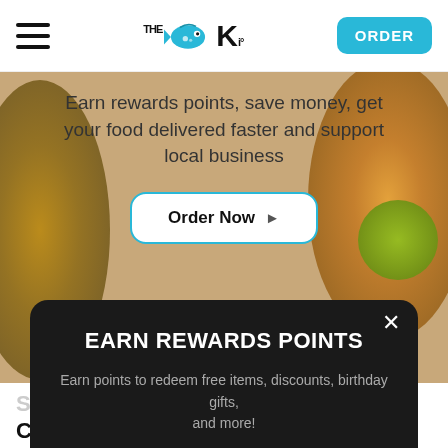The Poki — ORDER
Earn rewards points, save money, get your food delivered faster and support local business
Order Now ▶
EARN REWARDS POINTS
Earn points to redeem free items, discounts, birthday gifts, and more!
FREE SIGN UP
Some things Happy Customers Have Said